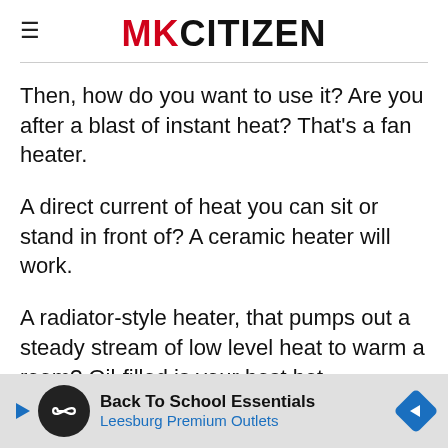MKCITIZEN
Then, how do you want to use it? Are you after a blast of instant heat? That’s a fan heater.
A direct current of heat you can sit or stand in front of? A ceramic heater will work.
A radiator-style heater, that pumps out a steady stream of low level heat to warm a room? Oil-filled is your best bet.
Consider how the heat is radiated, as well. Fan activ… …sy,
[Figure (other): Advertisement banner: Back To School Essentials, Leesburg Premium Outlets]